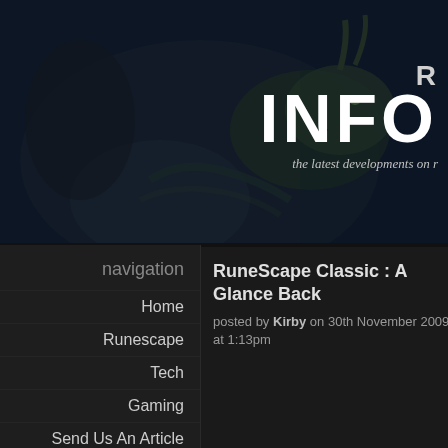[Figure (illustration): Dark fantasy banner image showing a green dragon and a human figure in a dark blue-grey scene. Overlaid text shows 'R', 'INFO' in large bold white letters, and italic tagline 'the latest developments on r...']
navigation
Home
Runescape
Tech
Gaming
Send Us An Article
Staff
RuneScape Classic : A Glance Back
posted by Kirby on 30th November 2009, at 1:13pm